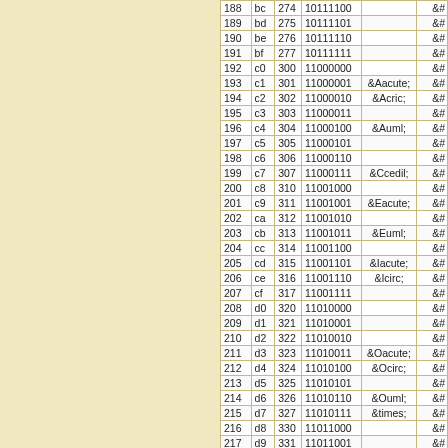| Dec | Hex | Oct | Binary | Entity | &#...; |
| --- | --- | --- | --- | --- | --- |
| 188 | bc | 274 | 10111100 |  | &#...; |
| 189 | bd | 275 | 10111101 |  | &#...; |
| 190 | be | 276 | 10111110 |  | &#...; |
| 191 | bf | 277 | 10111111 |  | &#...; |
| 192 | c0 | 300 | 11000000 |  | &#...; |
| 193 | c1 | 301 | 11000001 | &Aacute; | &#...; |
| 194 | c2 | 302 | 11000010 | &Acric; | &#...; |
| 195 | c3 | 303 | 11000011 |  | &#...; |
| 196 | c4 | 304 | 11000100 | &Auml; | &#...; |
| 197 | c5 | 305 | 11000101 |  | &#...; |
| 198 | c6 | 306 | 11000110 |  | &#...; |
| 199 | c7 | 307 | 11000111 | &Ccedil; | &#...; |
| 200 | c8 | 310 | 11001000 |  | &#...; |
| 201 | c9 | 311 | 11001001 | &Eacute; | &#...; |
| 202 | ca | 312 | 11001010 |  | &#...; |
| 203 | cb | 313 | 11001011 | &Euml; | &#...; |
| 204 | cc | 314 | 11001100 |  | &#...; |
| 205 | cd | 315 | 11001101 | &Iacute; | &#...; |
| 206 | ce | 316 | 11001110 | &Icirc; | &#...; |
| 207 | cf | 317 | 11001111 |  | &#...; |
| 208 | d0 | 320 | 11010000 |  | &#...; |
| 209 | d1 | 321 | 11010001 |  | &#...; |
| 210 | d2 | 322 | 11010010 |  | &#...; |
| 211 | d3 | 323 | 11010011 | &Oacute; | &#...; |
| 212 | d4 | 324 | 11010100 | &Ocirc; | &#...; |
| 213 | d5 | 325 | 11010101 |  | &#...; |
| 214 | d6 | 326 | 11010110 | &Ouml; | &#...; |
| 215 | d7 | 327 | 11010111 | &times; | &#...; |
| 216 | d8 | 330 | 11011000 |  | &#...; |
| 217 | d9 | 331 | 11011001 |  | &#...; |